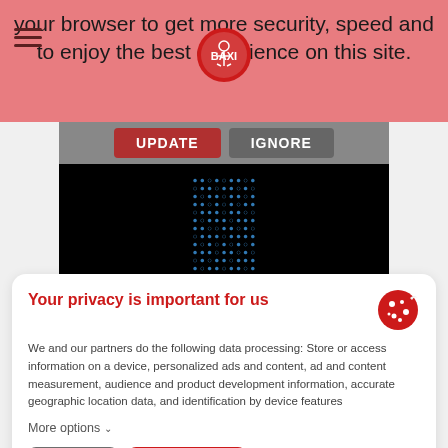your browser to get more security, speed and to enjoy the best experience on this site.
[Figure (screenshot): Browser update notification with UPDATE and IGNORE buttons on a dark background with blue dot matrix pattern]
Your privacy is important for us
We and our partners do the following data processing: Store or access information on a device, personalized ads and content, ad and content measurement, audience and product development information, accurate geographic location data, and identification by device features
More options
Decline
Accept all